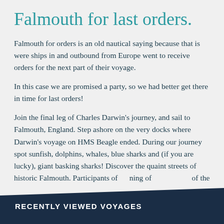Falmouth for last orders.
Falmouth for orders is an old nautical saying because that is were ships in and outbound from Europe went to receive orders for the next part of their voyage.
In this case we are promised a party, so we had better get there in time for last orders!
Join the final leg of Charles Darwin's journey, and sail to Falmouth, England. Step ashore on the very docks where Darwin's voyage on HMS Beagle ended. During our journey spot sunfish, dolphins, whales, blue sharks and (if you are lucky), giant basking sharks! Discover the quaint streets of historic Falmouth. Participants of [ning of [of the
RECENTLY VIEWED VOYAGES